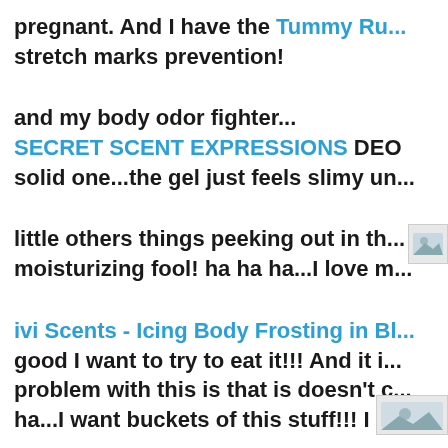pregnant. And I have the Tummy Ru... stretch marks prevention!
and my body odor fighter... SECRET SCENT EXPRESSIONS DEO solid one...the gel just feels slimy un...
little others things peeking out in th... moisturizing fool! ha ha ha...I love m...
[Figure (photo): Small thumbnail image in the right margin]
ivi Scents - Icing Body Frosting in Bl... good I want to try to eat it!!! And it i... problem with this is that is doesn't c... ha...I want buckets of this stuff!!! I lo...
[Figure (photo): Small thumbnail image in the bottom right corner]